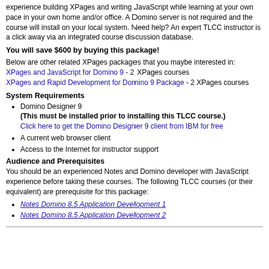experience building XPages and writing JavaScript while learning at your own pace in your own home and/or office. A Domino server is not required and the course will install on your local system. Need help? An expert TLCC instructor is a click away via an integrated course discussion database.
You will save $600 by buying this package!
Below are other related XPages packages that you maybe interested in: XPages and JavaScript for Domino 9 - 2 XPages courses
XPages and Rapid Development for Domino 9 Package - 2 XPages courses
System Requirements
Domino Designer 9 (This must be installed prior to installing this TLCC course.) Click here to get the Domino Designer 9 client from IBM for free
A current web browser client
Access to the Internet for instructor support
Audience and Prerequisites
You should be an experienced Notes and Domino developer with JavaScript experience before taking these courses. The following TLCC courses (or their equivalent) are prerequisite for this package:
Notes Domino 8.5 Application Development 1
Notes Domino 8.5 Application Development 2